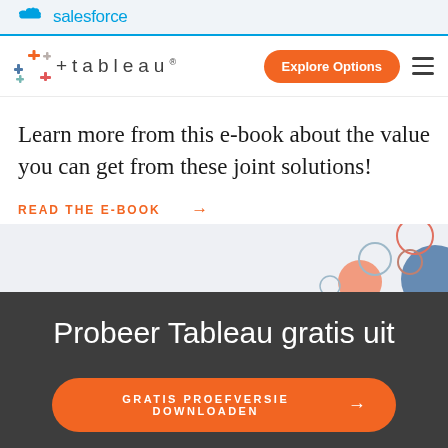salesforce
[Figure (logo): Tableau logo with colorful grid icon and spaced wordmark '+tableau']
Learn more from this e-book about the value you can get from these joint solutions!
READ THE E-BOOK →
[Figure (illustration): Decorative overlapping circles in orange, red, blue, and outline styles on a light grey background]
Probeer Tableau gratis uit
GRATIS PROEFVERSIE DOWNLOADEN →